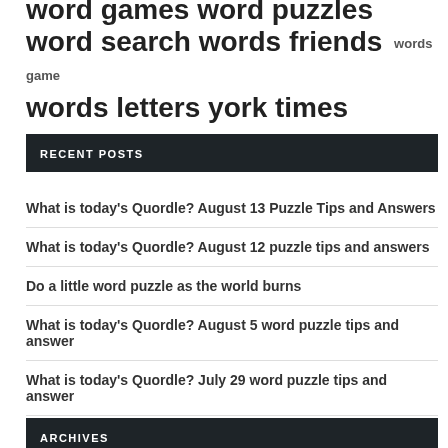word games word puzzles word search words friends words game words letters york times
RECENT POSTS
What is today's Quordle? August 13 Puzzle Tips and Answers
What is today's Quordle? August 12 puzzle tips and answers
Do a little word puzzle as the world burns
What is today's Quordle? August 5 word puzzle tips and answer
What is today's Quordle? July 29 word puzzle tips and answer
ARCHIVES